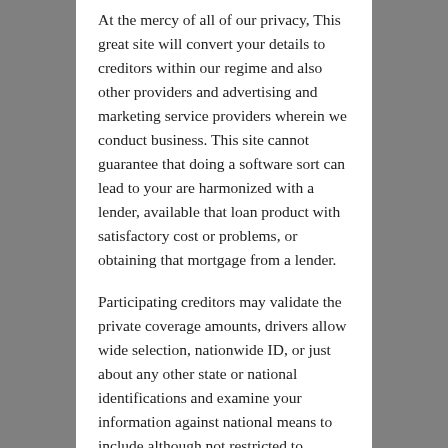At the mercy of all of our privacy, This great site will convert your details to creditors within our regime and also other providers and advertising and marketing service providers wherein we conduct business. This site cannot guarantee that doing a software sort can lead to your are harmonized with a lender, available that loan product with satisfactory cost or problems, or obtaining that mortgage from a lender.
Participating creditors may validate the private coverage amounts, drivers allow wide selection, nationwide ID, or just about any other state or national identifications and examine your information against national means to include although not restricted to Equifax, Transunion, and Experian to